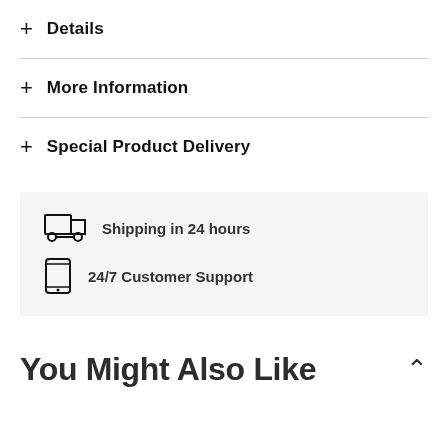+ Details
+ More Information
+ Special Product Delivery
[Figure (infographic): Gray info box with two rows: a truck icon with 'Shipping in 24 hours' and a phone icon with '24/7 Customer Support']
You Might Also Like